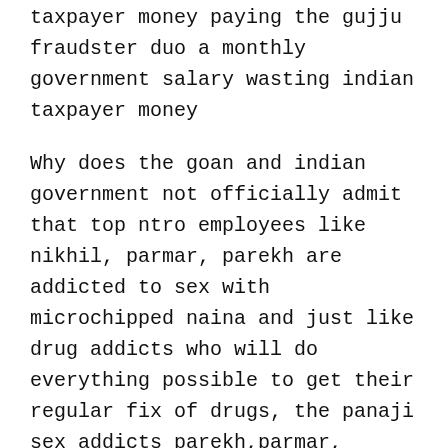taxpayer money paying the gujju fraudster duo a monthly government salary wasting indian taxpayer money
Why does the goan and indian government not officially admit that top ntro employees like nikhil, parmar, parekh are addicted to sex with microchipped naina and just like drug addicts who will do everything possible to get their regular fix of drugs, the panaji sex addicts parekh,parmar, nikhil sha will do anything to get their regular fix of sex with naina, including real estate, banking fraud, making fake claims about computer work by naina, and her fraud sons , circulating photoshopped photos and videos